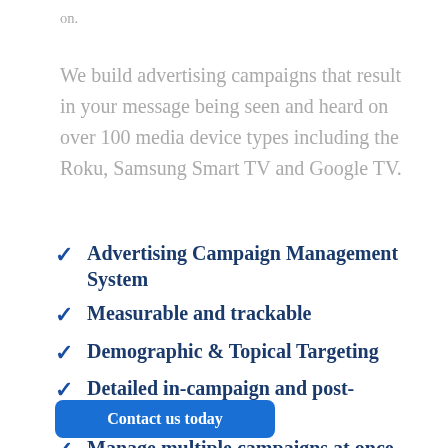on.
We build advertising campaigns that result in your message being seen and heard on over 100 media device types including the Roku, Samsung Smart TV and Google TV.
Advertising Campaign Management System
Measurable and trackable
Demographic & Topical Targeting
Detailed in-campaign and post-campaign reports
Manage multiple campaigns at once